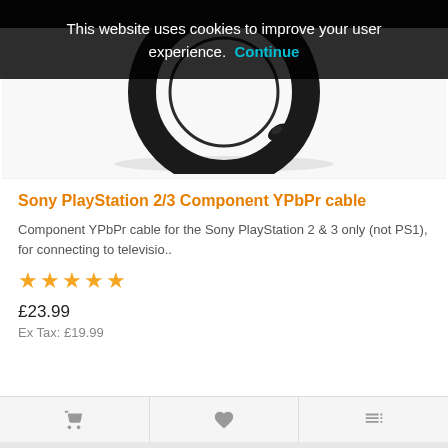[Figure (screenshot): Cookie consent banner overlay on dark background reading: This website uses cookies to improve your user experience. Continue]
[Figure (photo): Black coiled component YPbPr cable (Sony PlayStation 2/3) with RCA connectors, photographed on white background]
Sony PlayStation 2/3 Component YPbPr cable
Component YPbPr cable for the Sony PlayStation 2 & 3 only (not PS1), for connecting to televisio..
[Figure (other): 5-star rating displayed as orange stars]
£23.99
Ex Tax: £19.99